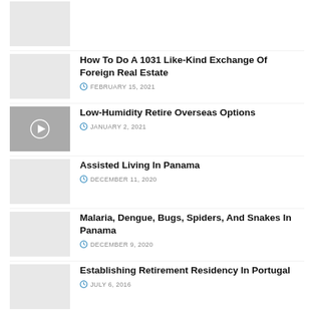How To Do A 1031 Like-Kind Exchange Of Foreign Real Estate — FEBRUARY 15, 2021
Low-Humidity Retire Overseas Options — JANUARY 2, 2021
Assisted Living In Panama — DECEMBER 11, 2020
Malaria, Dengue, Bugs, Spiders, And Snakes In Panama — DECEMBER 9, 2020
Establishing Retirement Residency In Portugal — JULY 6, 2016